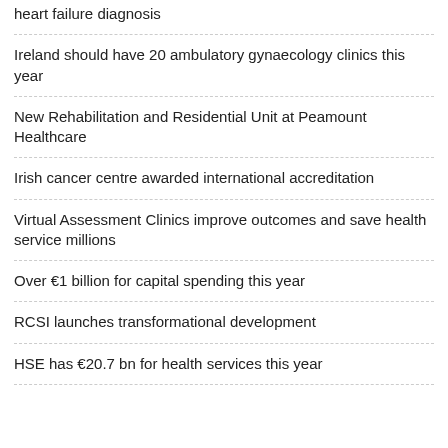heart failure diagnosis
Ireland should have 20 ambulatory gynaecology clinics this year
New Rehabilitation and Residential Unit at Peamount Healthcare
Irish cancer centre awarded international accreditation
Virtual Assessment Clinics improve outcomes and save health service millions
Over €1 billion for capital spending this year
RCSI launches transformational development
HSE has €20.7 bn for health services this year